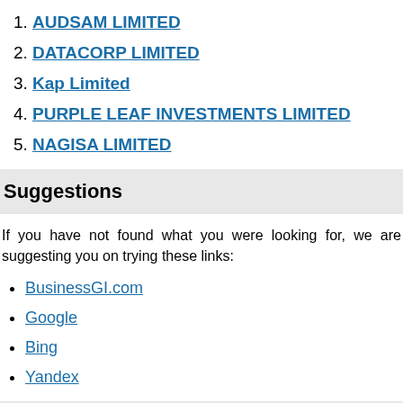1. AUDSAM LIMITED
2. DATACORP LIMITED
3. Kap Limited
4. PURPLE LEAF INVESTMENTS LIMITED
5. NAGISA LIMITED
Suggestions
If you have not found what you were looking for, we are suggesting you on trying these links:
BusinessGI.com
Google
Bing
Yandex
Financial data and company documents